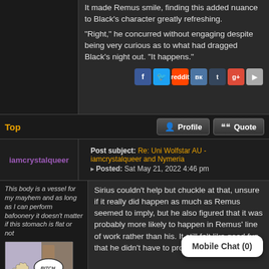It made Remus smile, finding this added nuance to Black's character greatly refreshing.
"Right," he concurred without engaging despite being very curious as to what had dragged Black's night out. "It happens."
Top
Profile
Quote
iamcrystalqueer
Post subject: Re: Uni Wolfstar AU - iamcrystalqueer and Nymeria
Posted: Sat May 21, 2022 4:46 pm
This body is a vessel for my mayhem and as long as I can perform bafoonery it doesn't matter if this stomach is flat or not
[Figure (illustration): Comic panel showing two characters, one with light spiky hair grabbing or gesturing at another with dark hair, with a speech bubble saying 'BITCH.']
Sirius couldn't help but chuckle at that, unsure if it really did happen as much as Remus seemed to imply, but he also figured that it was probably more likely to happen in Remus' line of work rather than his. It still felt like good fun that he didn't have to provid than wh understa